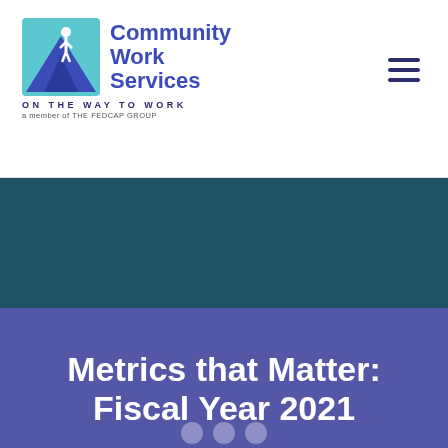[Figure (logo): Community Work Services logo with figure on mountain graphic and text 'Community Work Services / ON THE WAY TO WORK / a member of THE FEDCAP GROUP']
Metrics that Matter: Fiscal Year 2021